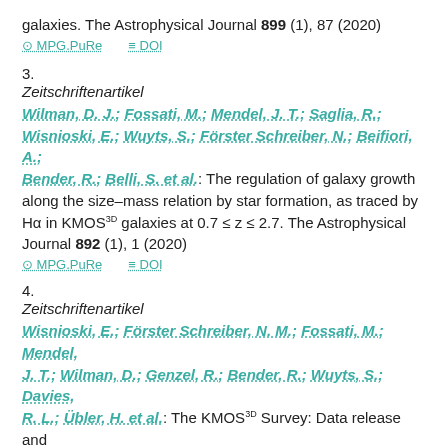galaxies. The Astrophysical Journal 899 (1), 87 (2020)
⊙ MPG.PuRe   ≡ DOI
3.
Zeitschriftenartikel
Wilman, D. J.; Fossati, M.; Mendel, J. T.; Saglia, R.; Wisnioski, E.; Wuyts, S.; Förster Schreiber, N.; Beifiori, A.; Bender, R.; Belli, S. et al.: The regulation of galaxy growth along the size–mass relation by star formation, as traced by Hα in KMOS3D galaxies at 0.7 ≤ z ≤ 2.7. The Astrophysical Journal 892 (1), 1 (2020)
⊙ MPG.PuRe   ≡ DOI
4.
Zeitschriftenartikel
Wisnioski, E.; Förster Schreiber, N. M.; Fossati, M.; Mendel, J. T.; Wilman, D.; Genzel, R.; Bender, R.; Wuyts, S.; Davies, R. L.; Übler, H. et al.: The KMOS3D Survey: Data release and...